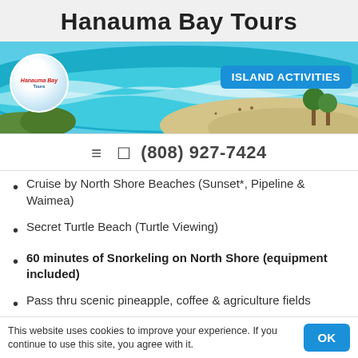Hanauma Bay Tours
[Figure (photo): Aerial photo of Hanauma Bay beach with turquoise water, white waves, sandy beach, and palm trees. Hanauma Bay Tours logo (circular badge) in top-left and 'ISLAND ACTIVITIES' badge in top-right.]
≡  📱 (808) 927-7424
Cruise by North Shore Beaches (Sunset*, Pipeline & Waimea)
Secret Turtle Beach (Turtle Viewing)
60 minutes of Snorkeling on North Shore (equipment included)
Pass thru scenic pineapple, coffee & agriculture fields
Dole Pineapple Plantation (30-minute stop)
This website uses cookies to improve your experience. If you continue to use this site, you agree with it.